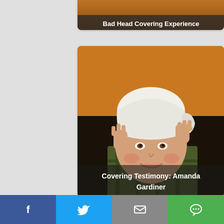[Figure (photo): Partial card at top with orange/brown background and text overlay reading 'Bad Head Covering Experience']
Bad Head Covering Experience
[Figure (photo): Photo of a woman wearing a white head covering, making a playful face with hands near her head. Text overlay reads 'Covering Testimony: Amanda Gardiner']
Covering Testimony: Amanda Gardiner
[Figure (illustration): Black and white engraving/illustration of a bearded man wearing a flat cap, historical style portrait]
[Figure (infographic): Share bar at bottom with Facebook (blue), Twitter (light blue), Email (grey), and SMS (green) buttons]